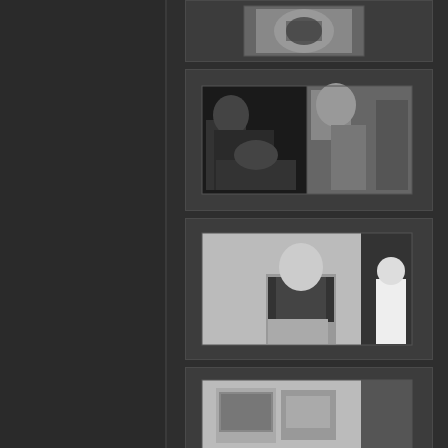[Figure (photo): Partial black and white photograph visible at top, showing a dark scene, cropped at top]
[Figure (photo): Black and white photograph in dark mat frame showing multiple people in a room, appears to be a social gathering or meeting scene]
[Figure (photo): Black and white photograph in dark mat frame showing a bald man standing wearing a vest/harness outfit, with another person partially visible on the right]
[Figure (photo): Partial black and white photograph at bottom showing what appears to be an interior room or display with equipment or screens]